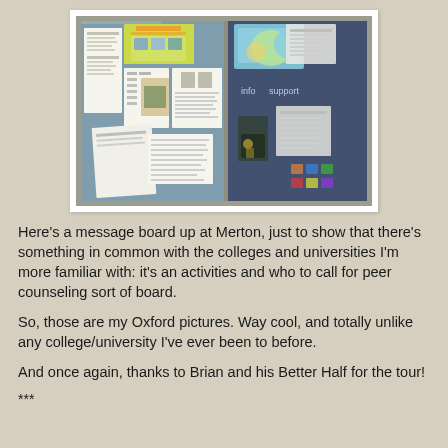[Figure (photo): A message board/bulletin board at Merton college, Oxford, showing various papers, flyers, and notices pinned to a blue board behind a glass-fronted display case. Papers include what appears to be a Merton notice board sign, student activities flyers, and peer counseling information.]
Here's a message board up at Merton, just to show that there's something in common with the colleges and universities I'm more familiar with: it's an activities and who to call for peer counseling sort of board.
So, those are my Oxford pictures. Way cool, and totally unlike any college/university I've ever been to before.
And once again, thanks to Brian and his Better Half for the tour!
***